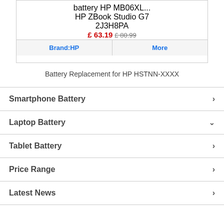battery HP MB06XL...
HP ZBook Studio G7
2J3H8PA
£ 63.19 £ 80.99
Brand:HP  More
Battery Replacement for HP HSTNN-XXXX
Smartphone Battery
Laptop Battery
Tablet Battery
Price Range
Latest News